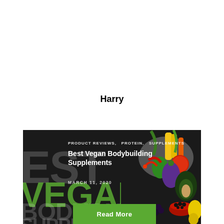Harry
[Figure (photo): Blog post card with dark background showing vegetables/produce on the right side, large faded background text reading EST, VEGAN, BODYBUILDING, SUPPLEMENTS, with overlay showing category tags PRODUCT REVIEWS, PROTEIN, SUPPLEMENTS, title Best Vegan Bodybuilding Supplements, date MARCH 11, 2020, and a green Read More button.]